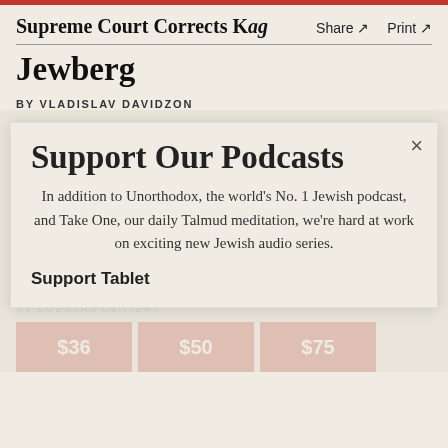Supreme Court Corrects Kag   Share ↗   Print ↗
Jewberg
BY VLADISLAV DAVIDZON
Support Our Podcasts
In addition to Unorthodox, the world's No. 1 Jewish podcast, and Take One, our daily Talmud meditation, we're hard at work on exciting new Jewish audio series.
It's Open Season on Jews in New York City
BY ARMIN ROSEN
ARTS & LETTERS
See All →
The Blatnoy
BY DOUGLAS CENTURY
Support Tablet
$36
$50
$75